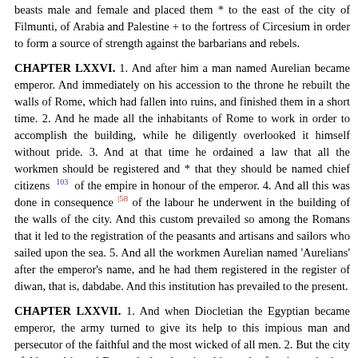beasts male and female and placed them * to the east of the city of Filmunti, of Arabia and Palestine + to the fortress of Circesium in order to form a source of strength against the barbarians and rebels.
CHAPTER LXXVI. 1. And after him a man named Aurelian became emperor. And immediately on his accession to the throne he rebuilt the walls of Rome, which had fallen into ruins, and finished them in a short time. 2. And he made all the inhabitants of Rome to work in order to accomplish the building, while he diligently overlooked it himself without pride. 3. And at that time he ordained a law that all the workmen should be registered and * that they should be named chief citizens [103] of the empire in honour of the emperor. 4. And all this was done in consequence |58 of the labour he underwent in the building of the walls of the city. And this custom prevailed so among the Romans that it led to the registration of the peasants and artisans and sailors who sailed upon the sea. 5. And all the workmen Aurelian named 'Aurelians' after the emperor's name, and he had them registered in the register of diwan, that is, dabdabe. And this institution has prevailed to the present.
CHAPTER LXXVII. 1. And when Diocletian the Egyptian became emperor, the army turned to give its help to this impious man and persecutor of the faithful and the most wicked of all men. 2. But the city of Alexandria and Egypt declared against him and refused to submit to him. And he made himself strong to war against them